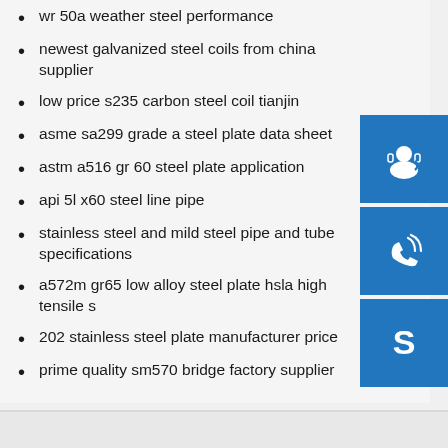wr 50a weather steel performance
newest galvanized steel coils from china supplier
low price s235 carbon steel coil tianjin
asme sa299 grade a steel plate data sheet
astm a516 gr 60 steel plate application
api 5l x60 steel line pipe
stainless steel and mild steel pipe and tube specifications
a572m gr65 low alloy steel plate hsla high tensile s
202 stainless steel plate manufacturer price
prime quality sm570 bridge factory supplier
[Figure (illustration): Customer service headset icon — white icon on blue square background]
[Figure (illustration): Phone/call icon with signal waves — white icon on blue square background]
[Figure (illustration): Skype logo icon — white S on blue square background]